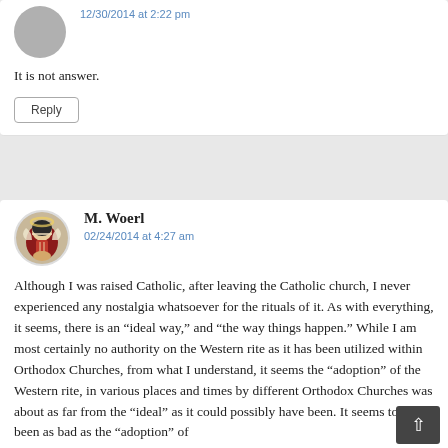12/30/2014 at 2:22 pm
It is not answer.
Reply
M. Woerl
02/24/2014 at 4:27 am
Although I was raised Catholic, after leaving the Catholic church, I never experienced any nostalgia whatsoever for the rituals of it. As with everything, it seems, there is an “ideal way,” and “the way things happen.” While I am most certainly no authority on the Western rite as it has been utilized within Orthodox Churches, from what I understand, it seems the “adoption” of the Western rite, in various places and times by different Orthodox Churches was about as far from the “ideal” as it could possibly have been. It seems to have been as bad as the “adoption” of